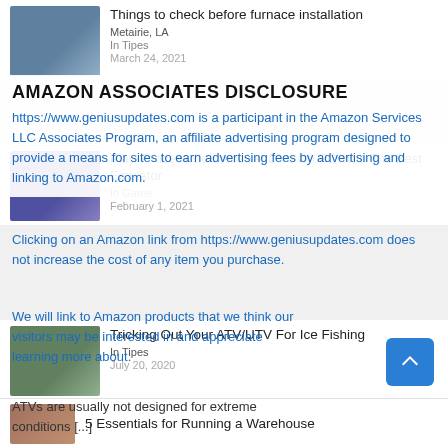[Figure (screenshot): Article listing: Things to check before furnace installation, Metairie LA, In Tipes, March 24 2021]
[Figure (screenshot): Article listing: Play Princess Connect Re: Dive On PC With The Best Emulator, In Game, February 1 2021]
AMAZON ASSOCIATES DISCLOSURE
https://www.geniusupdates.com is a participant in the Amazon Services LLC Associates Program, an affiliate advertising program designed to provide a means for sites to earn advertising fees by advertising and linking to Amazon.com.
Clicking on an Amazon link from https://www.geniusupdates.com does not increase the cost of any item you purchase.
We will link to Amazon products that we think our visitors may be interested in and appreciate learning more about.
[Figure (screenshot): Article listing: Tricking Out Your ATV/UTV For Ice Fishing, In Tipes, July 20 2020]
ATVs are usually not designed for extreme conditions [...]
[Figure (screenshot): Article listing: 5 Essentials for Running a Warehouse]
5 Essentials for Running a Warehouse